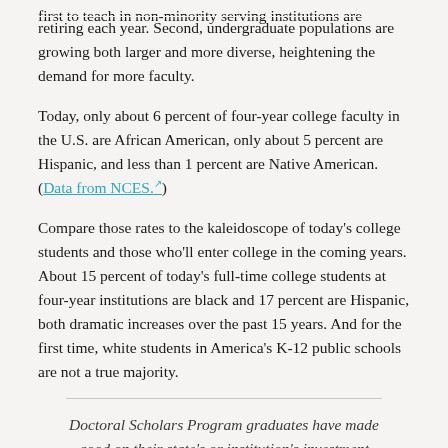first to teach in non-minority serving institutions are retiring each year. Second, undergraduate populations are growing both larger and more diverse, heightening the demand for more faculty.
Today, only about 6 percent of four-year college faculty in the U.S. are African American, only about 5 percent are Hispanic, and less than 1 percent are Native American. (Data from NCES.)
Compare those rates to the kaleidoscope of today's college students and those who'll enter college in the coming years. About 15 percent of today's full-time college students at four-year institutions are black and 17 percent are Hispanic, both dramatic increases over the past 15 years. And for the first time, white students in America's K-12 public schools are not a true majority.
Doctoral Scholars Program graduates have made good on their state's or institution's investment